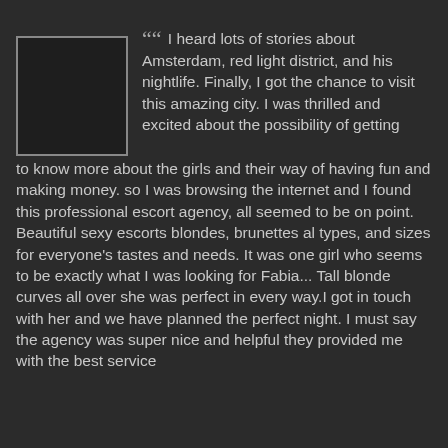[Figure (photo): A rectangular placeholder/photo box with a dark interior and grey border]
“” I heard lots of stories about Amsterdam, red light district, and his nightlife. Finally, I got the chance to visit this amazing city. I was thrilled and excited about the possibility of getting to know more about the girls and their way of having fun and making money. so I was browsing the internet and I found this professional escort agency, all seemed to be on point. Beautiful sexy escorts blondes, brunettes al types, and sizes for everyone's tastes and needs. It was one girl who seems to be exactly what I was looking for Fabia... Tall blonde curves all over she was perfect in every way.I got in touch with her and we have planned the perfect night. I must say the agency was super nice and helpful they provided me with the best service